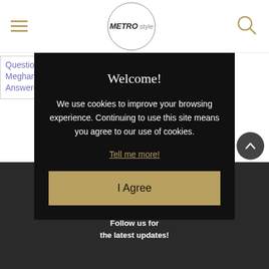METRO.style
Questions On Harry And Meghan's Resignation, Answered!
Resignation, Answered!
Welcome!

We use cookies to improve your browsing experience. Continuing to use this site means you agree to our use of cookies.

Tell me more!

I Agree
TERMS
ADVERTISE WITH US
STAY CONNECTED
Follow us for the latest updates!